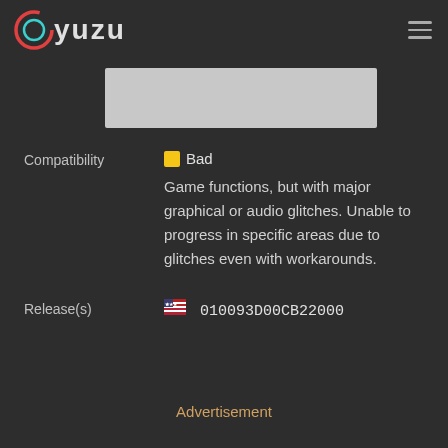yuzu
[Figure (screenshot): Gray placeholder image/thumbnail area]
Compatibility
■ Bad
Game functions, but with major graphical or audio glitches. Unable to progress in specific areas due to glitches even with workarounds.
Release(s)
🏳 010093D00CB22000
Advertisement